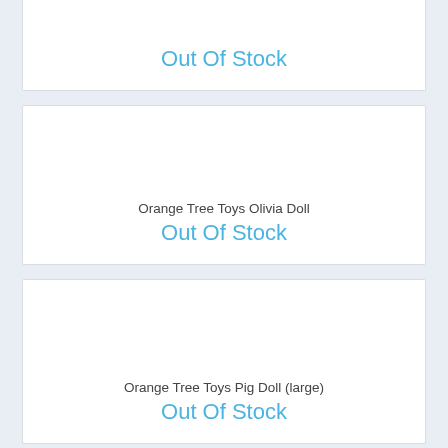Out Of Stock
Orange Tree Toys Olivia Doll
Out Of Stock
Orange Tree Toys Pig Doll (large)
Out Of Stock
Orange Tree Toys Pig Doll (small)
Out Of Stock